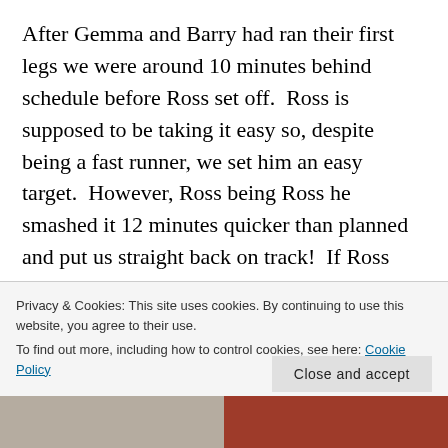After Gemma and Barry had ran their first legs we were around 10 minutes behind schedule before Ross set off.  Ross is supposed to be taking it easy so, despite being a fast runner, we set him an easy target.  However, Ross being Ross he smashed it 12 minutes quicker than planned and put us straight back on track!  If Ross was going to be quicker than planned, which looked likely, it gave us some flex so we could still hit our target 26 laps even if some of us were struggling to hit the right times.
Bl...
Privacy & Cookies: This site uses cookies. By continuing to use this website, you agree to their use.
To find out more, including how to control cookies, see here: Cookie Policy
Close and accept
[Figure (photo): Two partial photos at the bottom of the page — left shows people/crowd scene, right shows a red vehicle.]